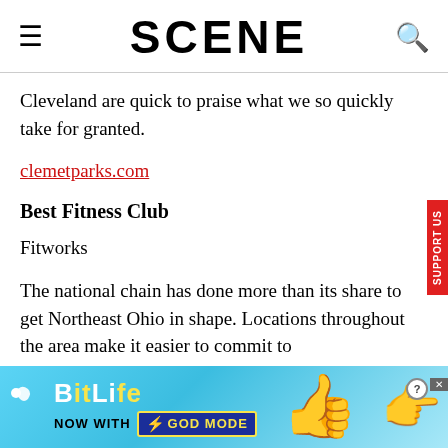SCENE
Cleveland are quick to praise what we so quickly take for granted.
clemetparks.com
Best Fitness Club
Fitworks
The national chain has done more than its share to get Northeast Ohio in shape. Locations throughout the area make it easier to commit to
[Figure (screenshot): BitLife advertisement banner: 'BitLife Now with GOD MODE']